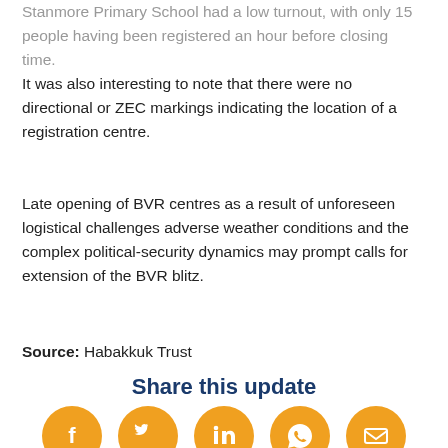Stanmore Primary School had a low turnout, with only 15 people having been registered an hour before closing time. It was also interesting to note that there were no directional or ZEC markings indicating the location of a registration centre.
Late opening of BVR centres as a result of unforeseen logistical challenges adverse weather conditions and the complex political-security dynamics may prompt calls for extension of the BVR blitz.
Source: Habakkuk Trust
Share this update
[Figure (infographic): Five orange circular social media share buttons: Facebook, Twitter, LinkedIn, WhatsApp, Email]